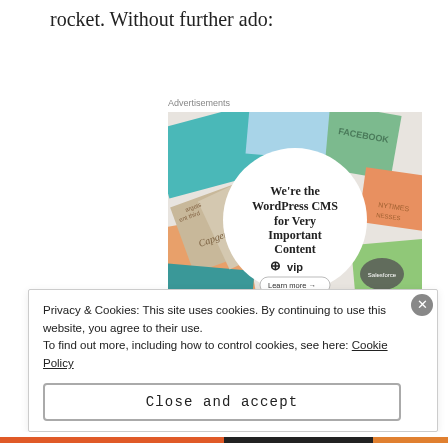rocket. Without further ado:
Advertisements
[Figure (illustration): WordPress VIP advertisement banner showing overlapping cards/magazines with brand names (Meta, Facebook, etc.) and a central white circle containing the text 'We're the WordPress CMS for Very Important Content' with the WP VIP logo and a 'Learn more' button.]
Privacy & Cookies: This site uses cookies. By continuing to use this website, you agree to their use.
To find out more, including how to control cookies, see here: Cookie Policy
Close and accept